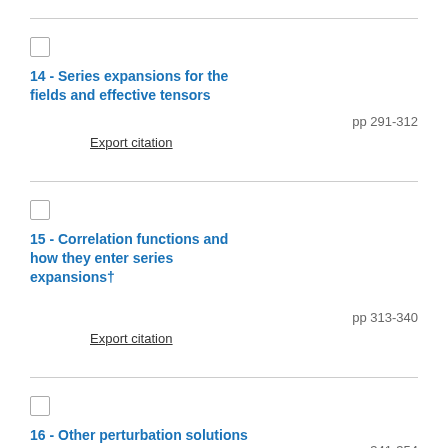14 - Series expansions for the fields and effective tensors pp 291-312
15 - Correlation functions and how they enter series expansions† pp 313-340
16 - Other perturbation solutions pp 341-354